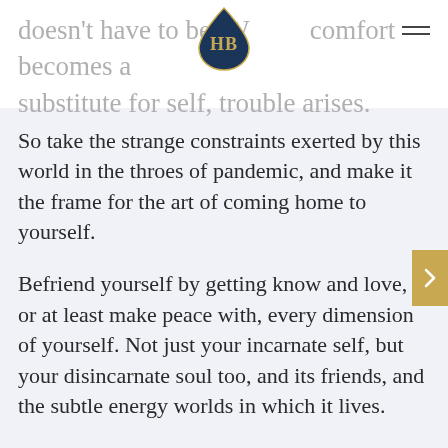doesn't have to be. When comfort becomes a substitute for self, trouble arises.
[Figure (logo): HB logo — dark teal teardrop shape with gold 'HB' monogram letters inside]
So take the strange constraints exerted by this world in the throes of pandemic, and make it the frame for the art of coming home to yourself.
Befriend yourself by getting know and love, or at least make peace with, every dimension of yourself. Not just your incarnate self, but your disincarnate soul too, and its friends, and the subtle energy worlds in which it lives.
Your personhood, with which you meet every challenge, every opportunity, every